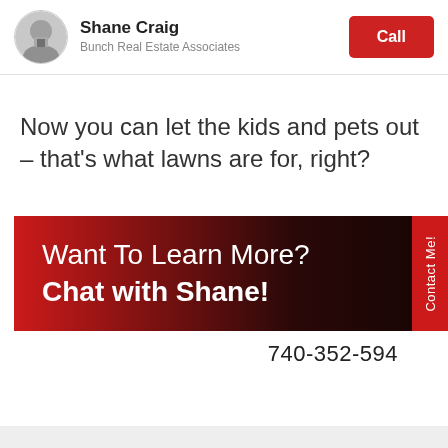Shane Craig | Bunch Real Estate Associates | Call
Now you can let the kids and pets out – that's what lawns are for, right?
[Figure (infographic): Red-to-dark gradient banner with text 'Want To Learn More? Chat with Shane!' and a red 'Contact Me!' tab on the right side]
740-352-594